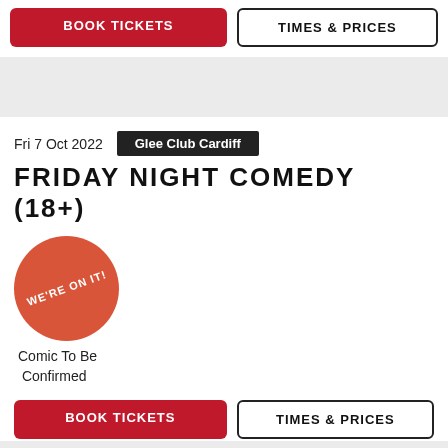BOOK TICKETS
TIMES & PRICES
Fri 7 Oct 2022
Glee Club Cardiff
FRIDAY NIGHT COMEDY (18+)
[Figure (illustration): Round terracotta/orange badge circle with text WE'RE ON IT! in white bold uppercase letters, rotated slightly]
Comic To Be Confirmed
BOOK TICKETS
TIMES & PRICES
Sat 8 Oct 2022
Glee Club Cardiff
SATURDAY NIGHT COMEDY (18+)